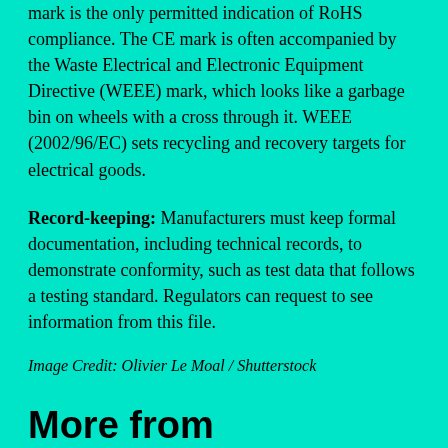mark is the only permitted indication of RoHS compliance. The CE mark is often accompanied by the Waste Electrical and Electronic Equipment Directive (WEEE) mark, which looks like a garbage bin on wheels with a cross through it. WEEE (2002/96/EC) sets recycling and recovery targets for electrical goods.
Record-keeping: Manufacturers must keep formal documentation, including technical records, to demonstrate conformity, such as test data that follows a testing standard. Regulators can request to see information from this file.
Image Credit: Olivier Le Moal / Shutterstock
More from Regulatory
Top 5 Stories This Week
GM Secures Key Permit for Cruise